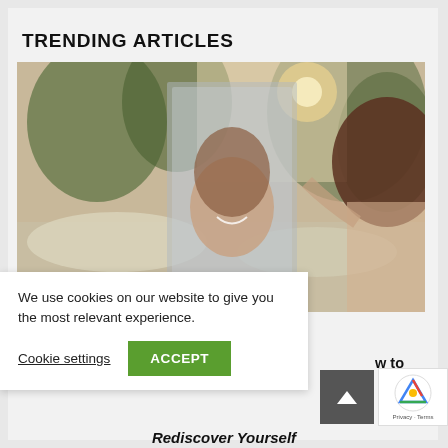TRENDING ARTICLES
[Figure (photo): Woman smiling looking at herself in a mirror held outdoors in a field with trees in background, sunlight flare visible]
We use cookies on our website to give you the most relevant experience.
Cookie settings
ACCEPT
w to
Rediscover Yourself